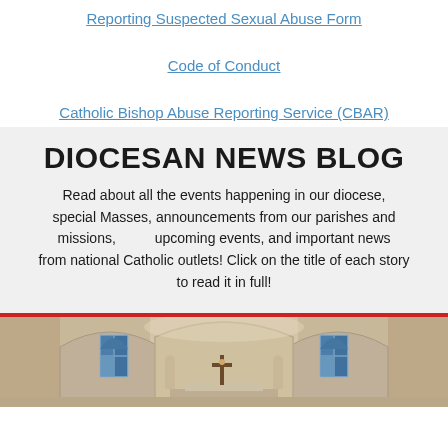Reporting Suspected Sexual Abuse Form
Code of Conduct
Catholic Bishop Abuse Reporting Service (CBAR)
DIOCESAN NEWS BLOG
Read about all the events happening in our diocese, special Masses, announcements from our parishes and missions, upcoming events, and important news from national Catholic outlets! Click on the title of each story to read it in full!
[Figure (photo): Interior of a Catholic church showing arched ceilings, stained glass windows, a crucifix at the altar, and stone statues on either side]